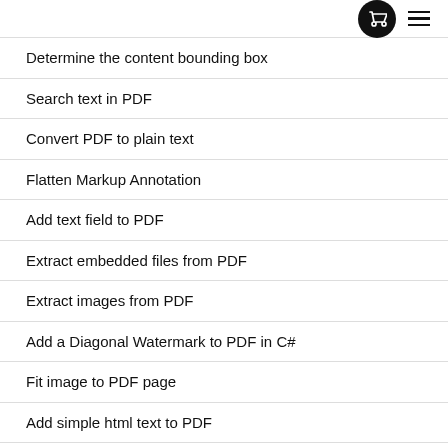[cart icon] [menu icon]
Determine the content bounding box
Search text in PDF
Convert PDF to plain text
Flatten Markup Annotation
Add text field to PDF
Extract embedded files from PDF
Extract images from PDF
Add a Diagonal Watermark to PDF in C#
Fit image to PDF page
Add simple html text to PDF
Add multiline text to a PDF document